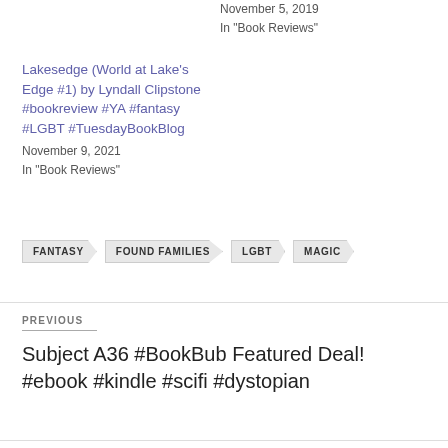November 5, 2019
In "Book Reviews"
Lakesedge (World at Lake’s Edge #1) by Lyndall Clipstone #bookreview #YA #fantasy #LGBT #TuesdayBookBlog
November 9, 2021
In "Book Reviews"
FANTASY
FOUND FAMILIES
LGBT
MAGIC
PREVIOUS
Subject A36 #BookBub Featured Deal! #ebook #kindle #scifi #dystopian